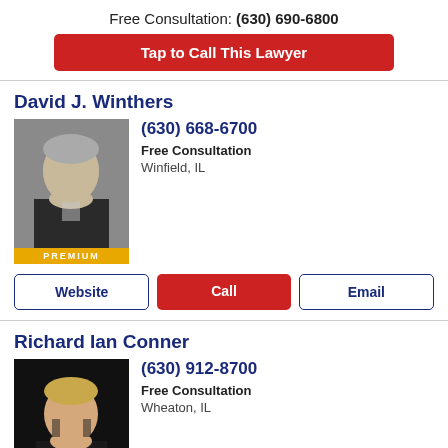Free Consultation: (630) 690-6800
Tap to Call This Lawyer
David J. Winthers
[Figure (photo): Professional headshot of David J. Winthers, older male with grey hair in dark suit and tie, with PREMIUM label at bottom]
(630) 668-6700
Free Consultation
Winfield, IL
Website
Call
Email
Richard Ian Conner
[Figure (photo): Professional headshot of Richard Ian Conner, younger male with blonde hair in dark suit and tie, dark background]
(630) 912-8700
Free Consultation
Wheaton, IL